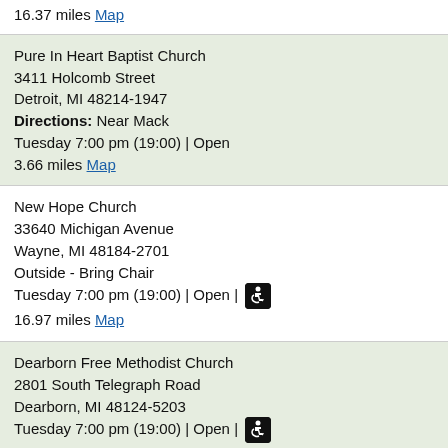16.37 miles Map
Pure In Heart Baptist Church
3411 Holcomb Street
Detroit, MI 48214-1947
Directions: Near Mack
Tuesday 7:00 pm (19:00) | Open
3.66 miles Map
New Hope Church
33640 Michigan Avenue
Wayne, MI 48184-2701
Outside - Bring Chair
Tuesday 7:00 pm (19:00) | Open | [wheelchair accessible]
16.97 miles Map
Dearborn Free Methodist Church
2801 South Telegraph Road
Dearborn, MI 48124-5203
Tuesday 7:00 pm (19:00) | Open | [wheelchair accessible]
Children Welcome
11.81 miles Map
Christ United Methodist Church
34385 Garfield Road
Fraser, MI 48026-4005